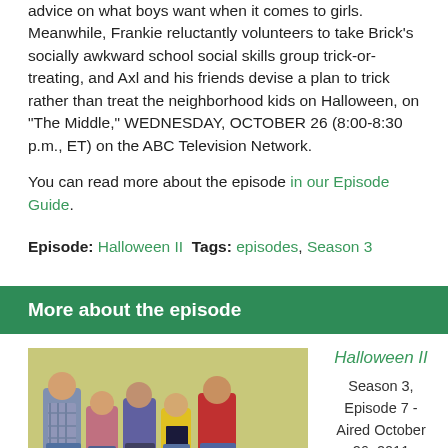advice on what boys want when it comes to girls. Meanwhile, Frankie reluctantly volunteers to take Brick's socially awkward school social skills group trick-or-treating, and Axl and his friends devise a plan to trick rather than treat the neighborhood kids on Halloween, on "The Middle," WEDNESDAY, OCTOBER 26 (8:00-8:30 p.m., ET) on the ABC Television Network.
You can read more about the episode in our Episode Guide.
Episode: Halloween II  Tags: episodes, Season 3
More about the episode
[Figure (photo): Cast photo of The Middle TV show family sitting on a couch]
Halloween II
Season 3, Episode 7 - Aired October 26, 2011